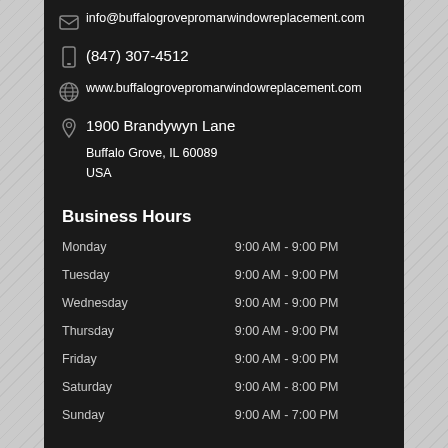info@buffalogrovepromarwindowreplacement.com
(847) 307-4512
www.buffalogrovepromarwindowreplacement.com
1900 Brandywyn Lane
Buffalo Grove, IL 60089
USA
Business Hours
| Day | Hours |
| --- | --- |
| Monday | 9:00 AM - 9:00 PM |
| Tuesday | 9:00 AM - 9:00 PM |
| Wednesday | 9:00 AM - 9:00 PM |
| Thursday | 9:00 AM - 9:00 PM |
| Friday | 9:00 AM - 9:00 PM |
| Saturday | 9:00 AM - 8:00 PM |
| Sunday | 9:00 AM - 7:00 PM |